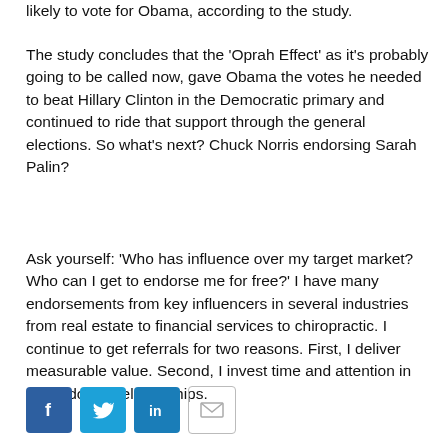likely to vote for Obama, according to the study.
The study concludes that the 'Oprah Effect' as it's probably going to be called now, gave Obama the votes he needed to beat Hillary Clinton in the Democratic primary and continued to ride that support through the general elections. So what's next? Chuck Norris endorsing Sarah Palin?
Ask yourself: 'Who has influence over my target market? Who can I get to endorse me for free?' I have many endorsements from key influencers in several industries from real estate to financial services to chiropractic. I continue to get referrals for two reasons. First, I deliver measurable value. Second, I invest time and attention in my endorser relationships.
[Figure (other): Social sharing buttons: Facebook, Twitter, LinkedIn, Email]